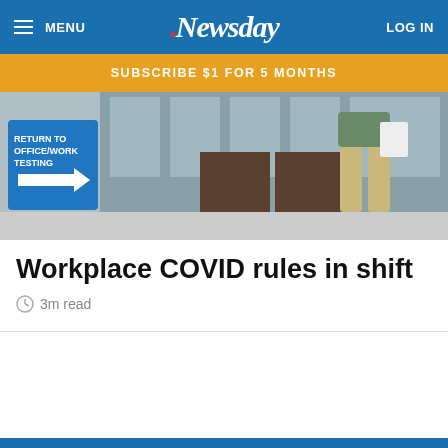MENU  Newsday  LOG IN
SUBSCRIBE $1 FOR 5 MONTHS
[Figure (photo): Sign reading RETURN TO OFFICE/WORK TESTING with an arrow, person walking past glass building entrance]
Workplace COVID rules in shift
3m read
[Figure (photo): Westbury Jeep advertisement banner with a silver car and dealership logo]